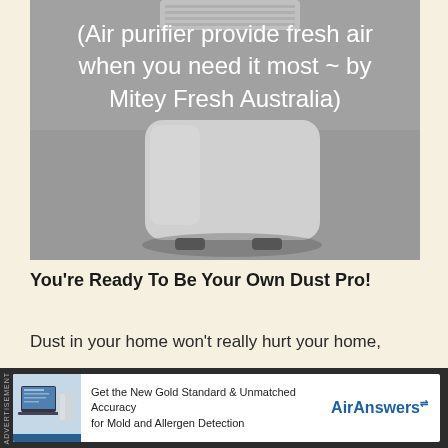[Figure (photo): Photo of a white air purifier device on a grey background, with overlaid white text reading '(Air purifier provide fresh air when you need it most ~ by Mitey Fresh Australia)']
You're Ready To Be Your Own Dust Pro!
Dust in your home won't really hurt your home,
[Figure (infographic): Advertisement banner for AirAnswers: 'Get the New Gold Standard & Unmatched Accuracy for Mold and Allergen Detection' with AirAnswers logo]